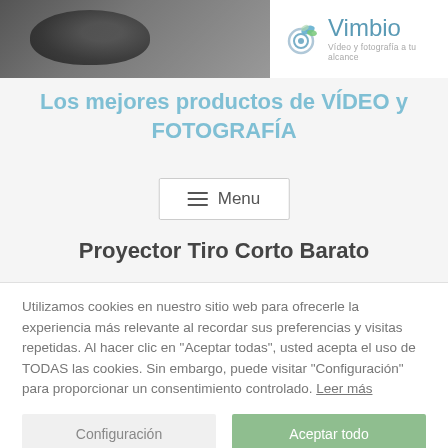[Figure (photo): Website header banner with a dark photo of camera gear on the left and the Vimbio logo on the right. Logo shows a camera icon with colored accent and text 'Vimbio' with tagline 'Vídeo y fotografía a tu alcance'.]
Los mejores productos de VÍDEO y FOTOGRAFÍA
≡ Menu
Proyector Tiro Corto Barato
Utilizamos cookies en nuestro sitio web para ofrecerle la experiencia más relevante al recordar sus preferencias y visitas repetidas. Al hacer clic en "Aceptar todas", usted acepta el uso de TODAS las cookies. Sin embargo, puede visitar "Configuración" para proporcionar un consentimiento controlado. Leer más
Configuración   Aceptar todo